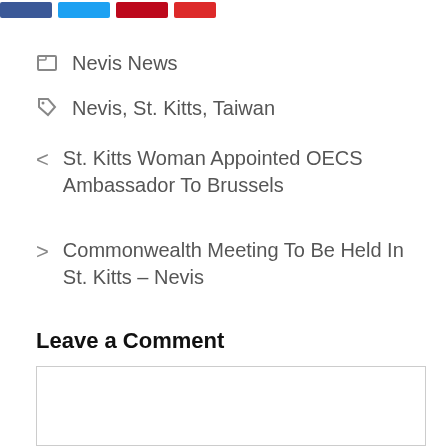[Figure (other): Social media share buttons (Facebook, Twitter, Pinterest, another red button) at the top of the page]
Nevis News
Nevis, St. Kitts, Taiwan
< St. Kitts Woman Appointed OECS Ambassador To Brussels
> Commonwealth Meeting To Be Held In St. Kitts – Nevis
Leave a Comment